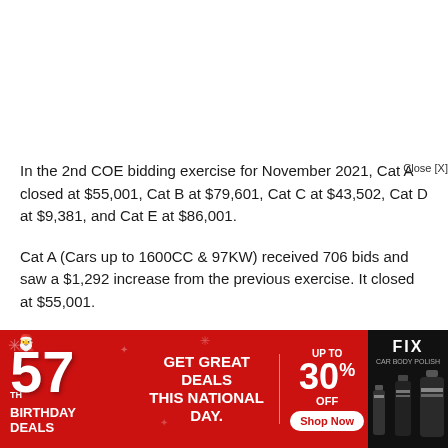In the 2nd COE bidding exercise for November 2021, Cat A closed at $55,001, Cat B at $79,601, Cat C at $43,502, Cat D at $9,381, and Cat E at $86,001.
Cat A (Cars up to 1600CC & 97KW) received 706 bids and saw a $1,292 increase from the previous exercise. It closed at $55,001.
Cat C (Goods Vehicle & Bus) received 164 bids and w...
[Figure (screenshot): Advertisement banner: 57th Birthday Deals — Get Great Deals This National Day. Up to 30% Off. Shop Now. FIX car polish product shown on right. Red background with white text.]